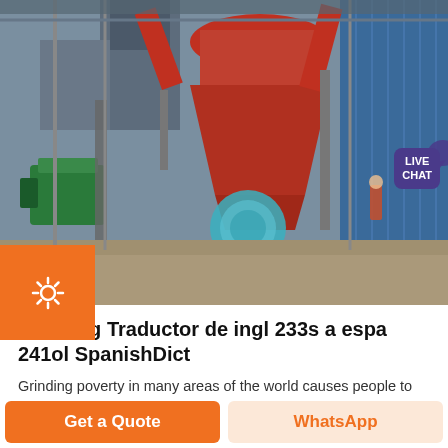[Figure (photo): Industrial mining or construction machinery — large red/orange cone crusher or grinding mill with green motor on the left, workers in background, blue corrugated metal structure on right, overhead industrial equipment]
Grinding Traductor de ingl 233s a espa 241ol SpanishDict
Grinding poverty in many areas of the world causes people to have to make impossible decisions La miseria absoluta en muchas partes del mundo hace que la gente tenga que tomar decisiones imposibles Un sustantivo es una palabra que se refiere a una persona